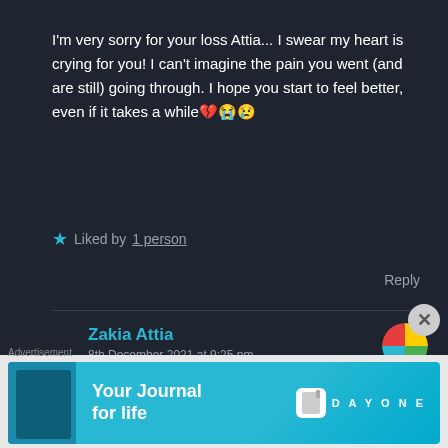I'm very sorry for your loss Attia... I swear my heart is crying for you! I can't imagine the pain you went (and are still) going through. I hope you start to feel better, even if it takes a while 💔😭😢
★ Liked by 1 person
Reply
Zakia Attia
8th December 2021 at 9:25 pm
[Figure (screenshot): Day One app advertisement banner with 'Your Journal for life' text and app icon/logo]
Advertisement